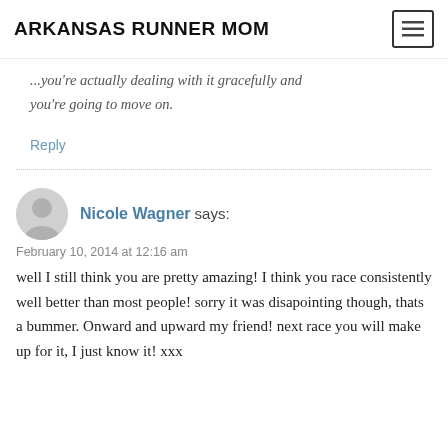ARKANSAS RUNNER MOM
And you're actually dealing with it gracefully and you're going to move on.
Reply
Nicole Wagner says:
February 10, 2014 at 12:16 am
well I still think you are pretty amazing! I think you race consistently well better than most people! sorry it was disapointing though, thats a bummer. Onward and upward my friend! next race you will make up for it, I just know it! xxx